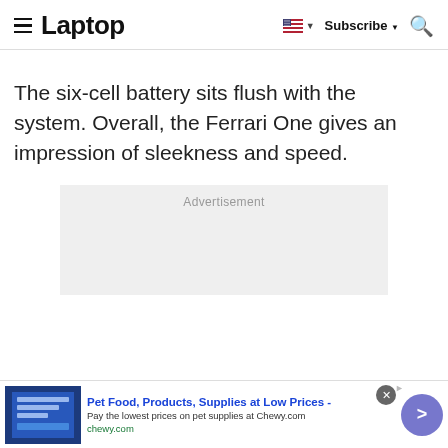Laptop  Subscribe
The six-cell battery sits flush with the system. Overall, the Ferrari One gives an impression of sleekness and speed.
[Figure (other): Advertisement placeholder box with grey background]
[Figure (other): Bottom ad banner: Pet Food, Products, Supplies at Low Prices - Pay the lowest prices on pet supplies at Chewy.com | chewy.com]